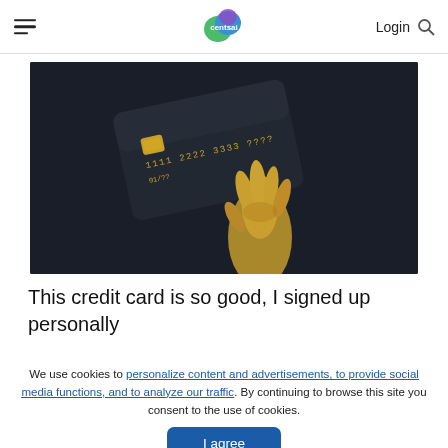centsai | Login
[Figure (photo): A gold metallic hand holding a dark credit card with embossed numbers 1111 2222 3333, against a dark background.]
This credit card is so good, I signed up personally
We use cookies to personalize content and advertisements, to provide social media functions, and to analyze our traffic. By continuing to browse this site you consent to the use of cookies.
I agree